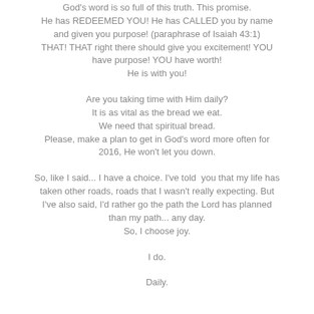God's word is so full of this truth. This promise. He has REDEEMED YOU! He has CALLED you by name and given you purpose! (paraphrase of Isaiah 43:1) THAT! THAT right there should give you excitement! YOU have purpose! YOU have worth! He is with you!
Are you taking time with Him daily? It is as vital as the bread we eat. We need that spiritual bread. Please, make a plan to get in God's word more often for 2016, He won't let you down.
So, like I said... I have a choice. I've told  you that my life has taken other roads, roads that I wasn't really expecting. But I've also said, I'd rather go the path the Lord has planned than my path... any day. So, I choose joy.
I do.
Daily.